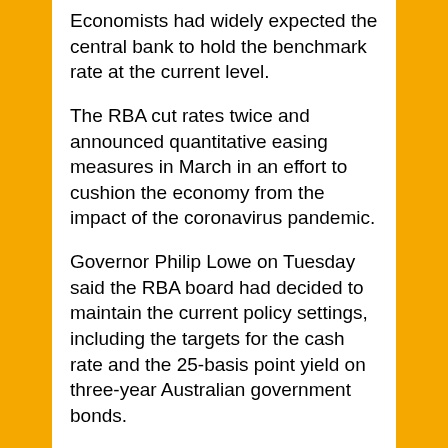Economists had widely expected the central bank to hold the benchmark rate at the current level.
The RBA cut rates twice and announced quantitative easing measures in March in an effort to cushion the economy from the impact of the coronavirus pandemic.
Governor Philip Lowe on Tuesday said the RBA board had decided to maintain the current policy settings, including the targets for the cash rate and the 25-basis point yield on three-year Australian government bonds.
He noted that while financial markets globally remained fragile, conditions had improved and credit markets had progressively opened to more firms.
Australia’s government bond markets were operating effectively and the central bank had had to purchase government bonds on only one occasion since the previous month’s board